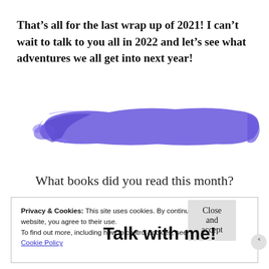That's all for the last wrap up of 2021! I can't wait to talk to you all in 2022 and let's see what adventures we all get into next year!
[Figure (illustration): Purple/blue paint brush stroke banner with bold text 'Talk with me!' overlaid on it]
What books did you read this month?
Privacy & Cookies: This site uses cookies. By continuing to use this website, you agree to their use.
To find out more, including how to control cookies, see here:
Cookie Policy
Close and accept